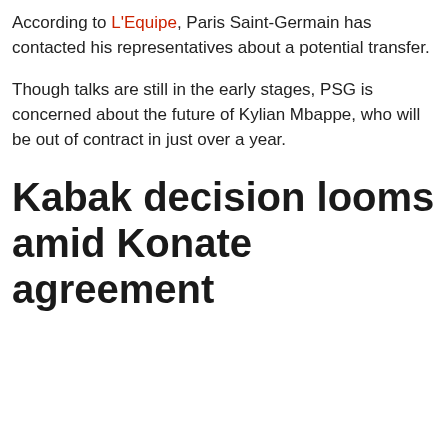According to L'Equipe, Paris Saint-Germain has contacted his representatives about a potential transfer.
Though talks are still in the early stages, PSG is concerned about the future of Kylian Mbappe, who will be out of contract in just over a year.
Kabak decision looms amid Konate agreement